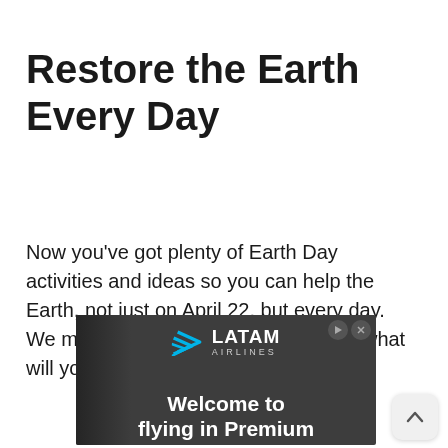Restore the Earth Every Day
Now you've got plenty of Earth Day activities and ideas so you can help the Earth, not just on April 22, but every day. We must all act before it's too late, so what will you do to help restore the Earth?
[Figure (other): LATAM Airlines advertisement banner with dark gray background showing LATAM Airlines logo and text 'Welcome to flying in Premium']